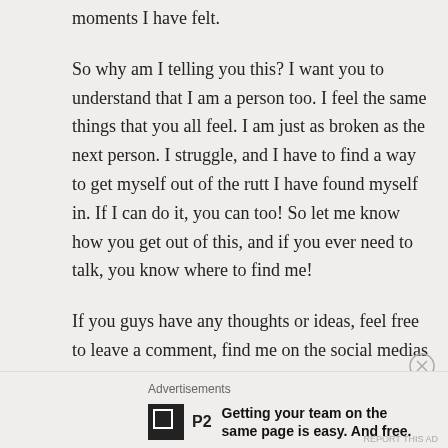moments I have felt.
So why am I telling you this? I want you to understand that I am a person too. I feel the same things that you all feel. I am just as broken as the next person. I struggle, and I have to find a way to get myself out of the rutt I have found myself in. If I can do it, you can too! So let me know how you get out of this, and if you ever need to talk, you know where to find me!
If you guys have any thoughts or ideas, feel free to leave a comment, find me on the social medias at @elizabooksblog, or email me at
Advertisements
Getting your team on the same page is easy. And free.